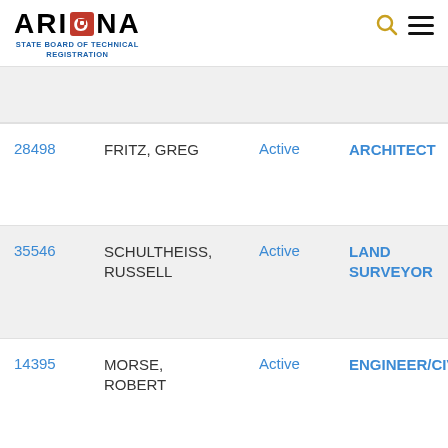ARIZONA STATE BOARD OF TECHNICAL REGISTRATION
| ID | Name | Status | Type |
| --- | --- | --- | --- |
| 28498 | FRITZ, GREG | Active | ARCHITECT |
| 35546 | SCHULTHEISS, RUSSELL | Active | LAND SURVEYOR |
| 14395 | MORSE, ROBERT | Active | ENGINEER/CIV |